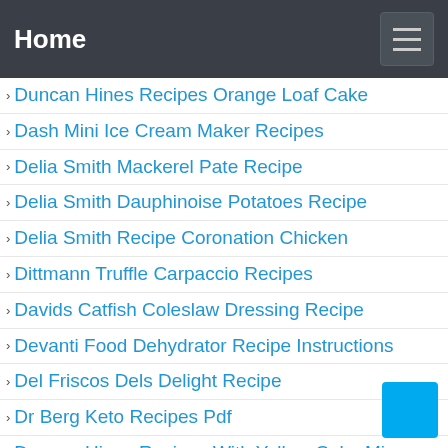Home
Duncan Hines Recipes Orange Loaf Cake
Dash Mini Ice Cream Maker Recipes
Delia Smith Mackerel Pate Recipe
Delia Smith Dauphinoise Potatoes Recipe
Delia Smith Recipe Coronation Chicken
Dittmann Truffle Carpaccio Recipes
Davids Catfish Coleslaw Dressing Recipe
Devanti Food Dehydrator Recipe Instructions
Del Friscos Dels Delight Recipe
Dr Berg Keto Recipes Pdf
Duncan Hines Recipes With Yellow Cake Mix
Duck Leg Recipes Mary Berry
Dumpling Recipes